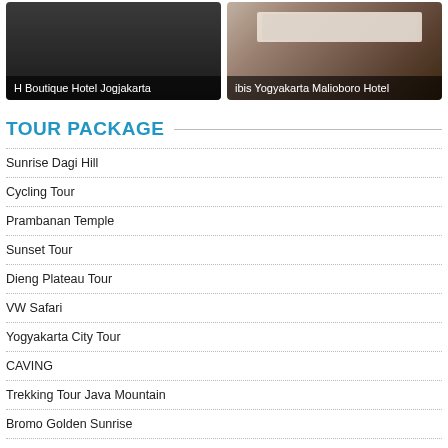[Figure (photo): H Boutique Hotel Jogjakarta - dark hotel room or exterior photo with label overlay]
[Figure (photo): ibis Yogyakarta Malioboro Hotel - hotel room with beds and wooden floor photo with label overlay]
TOUR PACKAGE
Sunrise Dagi Hill
Cycling Tour
Prambanan Temple
Sunset Tour
Dieng Plateau Tour
VW Safari
Yogyakarta City Tour
CAVING
Trekking Tour Java Mountain
Bromo Golden Sunrise
Banyuwangi Tour